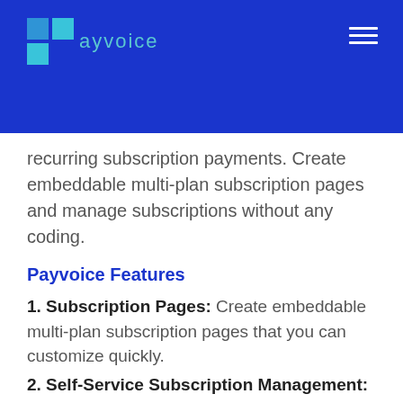[Figure (logo): Payvoice logo: teal square grid icon followed by text 'ayvoice' in teal on blue background]
recurring subscription payments. Create embeddable multi-plan subscription pages and manage subscriptions without any coding.
Payvoice Features
1. Subscription Pages: Create embeddable multi-plan subscription pages that you can customize quickly.
2. Self-Service Subscription Management: Allow your users to manage their subscriptions without